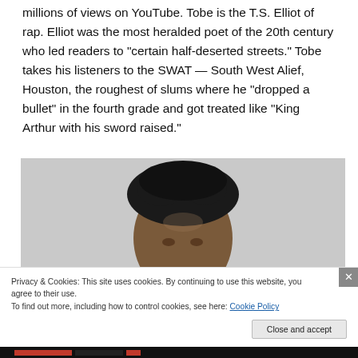millions of views on YouTube. Tobe is the T.S. Elliot of rap. Elliot was the most heralded poet of the 20th century who led readers to “certain half-deserted streets.” Tobe takes his listeners to the SWAT — South West Alief, Houston, the roughest of slums where he “dropped a bullet” in the fourth grade and got treated like “King Arthur with his sword raised.”
[Figure (photo): Photo of a person, showing the top of their head with short dreadlocks, face partially visible, against a light grey background.]
Privacy & Cookies: This site uses cookies. By continuing to use this website, you agree to their use.
To find out more, including how to control cookies, see here: Cookie Policy
Close and accept